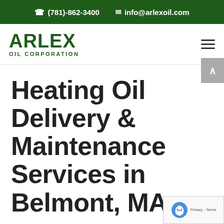(781)-862-3400  info@arlexoil.com
[Figure (logo): Arlex Oil Corporation logo with green bold text]
Heating Oil Delivery & Maintenance Services in Belmont, MA
Belmont is a suburban town right on the outskirts of Boston. Belmont has a rich history that began